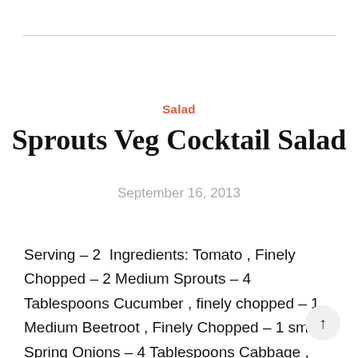Salad
Sprouts Veg Cocktail Salad
September 16, 2013
Serving – 2  Ingredients: Tomato , Finely Chopped – 2 Medium Sprouts – 4 Tablespoons Cucumber , finely chopped – 1 Medium Beetroot , Finely Chopped – 1 small Spring Onions – 4 Tablespoons Cabbage , finely chopped – 2 Tablespoons Avocado , Chopped – 2 Tablespoons Salt to taste